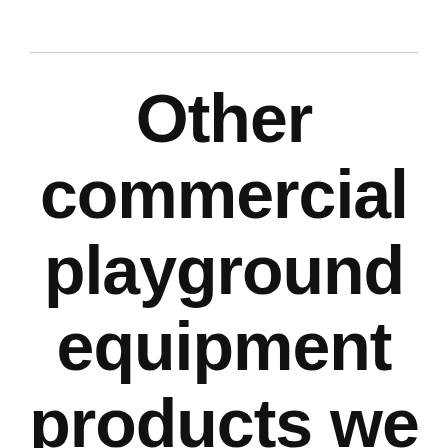Other commercial playground equipment products we offer in